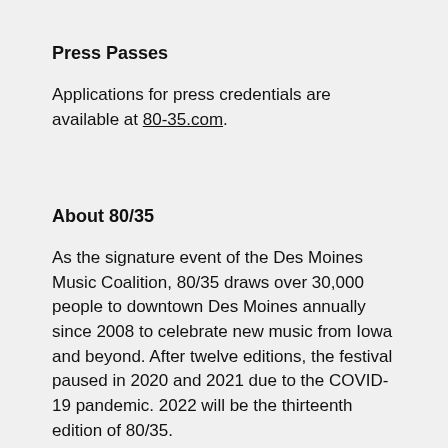Press Passes
Applications for press credentials are available at 80-35.com.
About 80/35
As the signature event of the Des Moines Music Coalition, 80/35 draws over 30,000 people to downtown Des Moines annually since 2008 to celebrate new music from Iowa and beyond. After twelve editions, the festival paused in 2020 and 2021 due to the COVID-19 pandemic. 2022 will be the thirteenth edition of 80/35.
Proceeds from the festival are invested back into the community through programs that